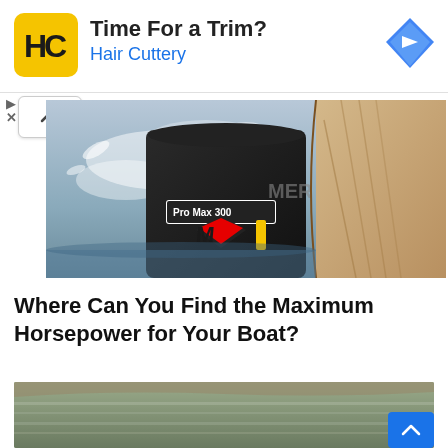[Figure (screenshot): Advertisement banner for Hair Cuttery with logo, title 'Time For a Trim?', brand name 'Hair Cuttery' in blue, and a navigation arrow icon on the right]
[Figure (photo): Close-up photo of a Mercury Pro Max 300 outboard boat motor with water spray in the background]
Where Can You Find the Maximum Horsepower for Your Boat?
[Figure (photo): Partial photo at bottom of page showing water/boat scene]